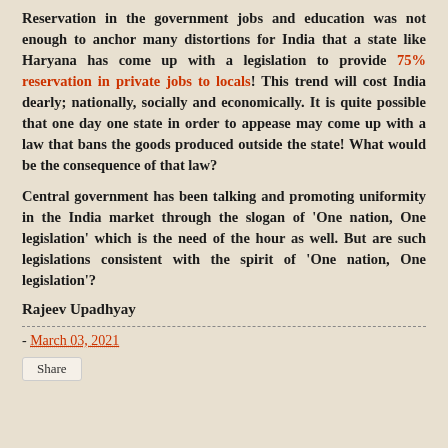Reservation in the government jobs and education was not enough to anchor many distortions for India that a state like Haryana has come up with a legislation to provide 75% reservation in private jobs to locals! This trend will cost India dearly; nationally, socially and economically. It is quite possible that one day one state in order to appease may come up with a law that bans the goods produced outside the state! What would be the consequence of that law?
Central government has been talking and promoting uniformity in the India market through the slogan of 'One nation, One legislation' which is the need of the hour as well. But are such legislations consistent with the spirit of 'One nation, One legislation'?
Rajeev Upadhyay
- March 03, 2021
Share